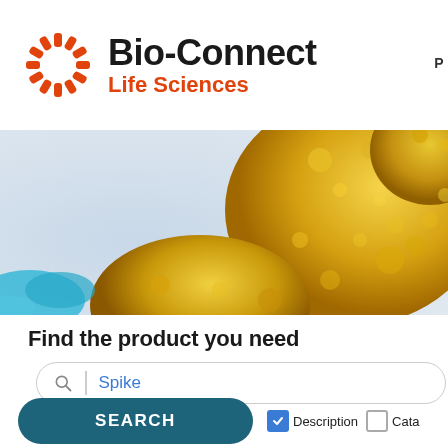[Figure (logo): Bio-Connect Life Sciences logo with a red dashed circle icon on the left and bold text 'Bio-Connect' in black with 'Life Sciences' in orange below]
[Figure (photo): Close-up microscopy/3D illustration of biological cells, predominantly yellow/golden colored with a light blue-grey background. A blue element is visible in the lower left.]
Find the product you need
Spike
SEARCH
Description
Cata